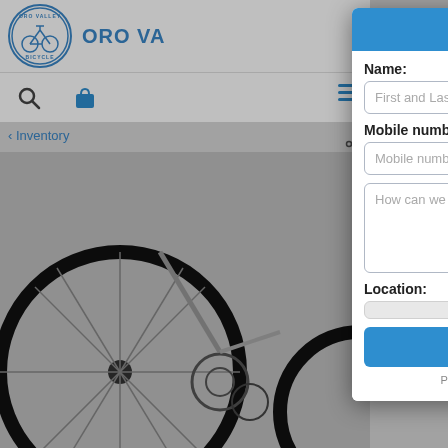[Figure (screenshot): Background of Oro Valley Bicycle website showing logo, navigation icons, breadcrumb 'Inventory', and a bicycle product image (rear wheel and drivetrain visible)]
Text us!
Name:
First and Last Name
Mobile number:
Mobile number
How can we help you?
Location:
Send Text
Powered by  Ikeono